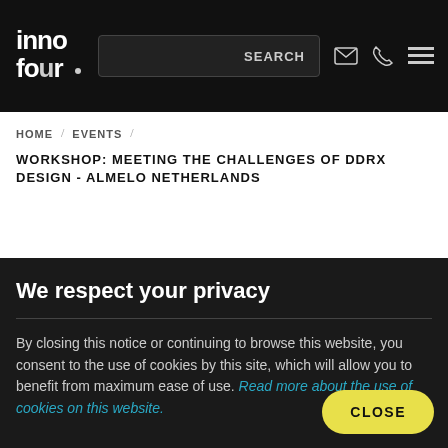[Figure (logo): Innofour logo in white on dark background, top left of navigation bar]
SEARCH
HOME / EVENTS /
WORKSHOP: MEETING THE CHALLENGES OF DDRX DESIGN - ALMELO NETHERLANDS
We respect your privacy
By closing this notice or continuing to browse this website, you consent to the use of cookies by this site, which will allow you to benefit from maximum ease of use. Read more about the use of cookies on this website.
CLOSE